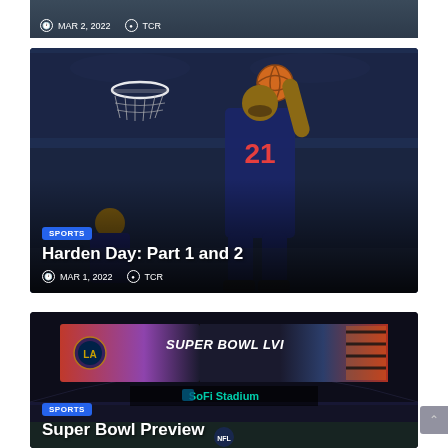[Figure (photo): Top cropped sports photo with meta: MAR 2, 2022 and TCR author tag]
MAR 2, 2022  TCR
[Figure (photo): Basketball player #21 dunking at arena, SPORTS badge, title Harden Day: Part 1 and 2, date MAR 1, 2022, author TCR]
SPORTS
Harden Day: Part 1 and 2
MAR 1, 2022  TCR
[Figure (photo): LA Super Bowl LVI SoFi Stadium interior with scoreboard display, SPORTS badge, title Super Bowl Preview]
SPORTS
Super Bowl Preview